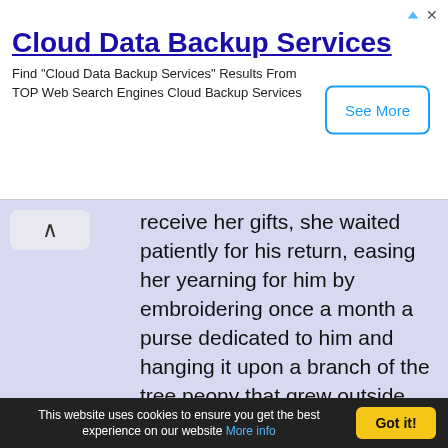Cloud Data Backup Services — Find "Cloud Data Backup Services" Results From TOP Web Search Engines Cloud Backup Services — See More
receive her gifts, she waited patiently for his return, easing her yearning for him by embroidering once a month a purse dedicated to him and hanging it upon a branch of the tree peony that grew outside her window. Such was her talent for embroidery that the beautiful flowers that she created so skilfully with her needle fooled the very butterflies and bees, who would try to pollinate them, believing them to be real. This state of affairs continued for so long that the peony bush, though not actually in flower, appeared to have burst forth in strange, purse-shaped blooms, so many were the little embroidered
This website uses cookies to ensure you get the best experience on our website More info   Got it!